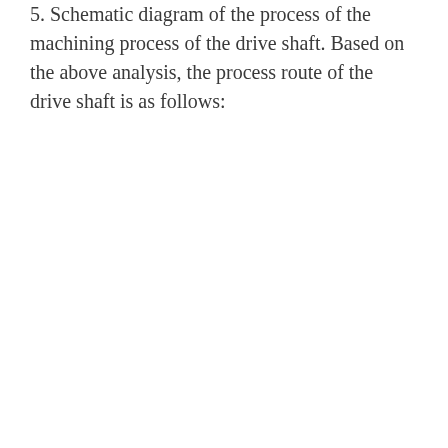5. Schematic diagram of the process of the machining process of the drive shaft. Based on the above analysis, the process route of the drive shaft is as follows: